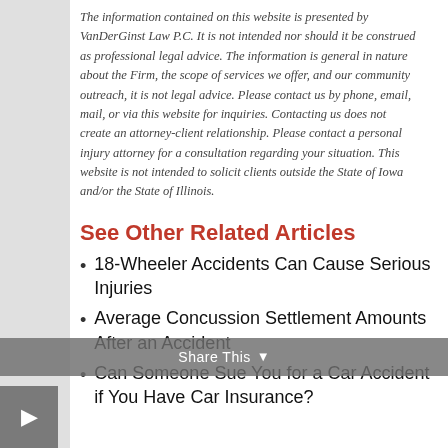The information contained on this website is presented by VanDerGinst Law P.C. It is not intended nor should it be construed as professional legal advice. The information is general in nature about the Firm, the scope of services we offer, and our community outreach, it is not legal advice. Please contact us by phone, email, mail, or via this website for inquiries. Contacting us does not create an attorney-client relationship. Please contact a personal injury attorney for a consultation regarding your situation. This website is not intended to solicit clients outside the State of Iowa and/or the State of Illinois.
See Other Related Articles
18-Wheeler Accidents Can Cause Serious Injuries
Average Concussion Settlement Amounts After an Accident
Can Someone Sue You for a Car Accident if You Have Car Insurance?